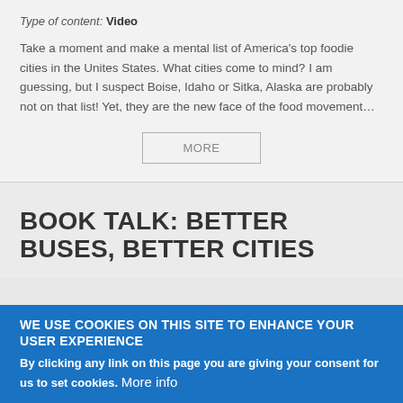Type of content: Video
Take a moment and make a mental list of America’s top foodie cities in the Unites States. What cities come to mind? I am guessing, but I suspect Boise, Idaho or Sitka, Alaska are probably not on that list! Yet, they are the new face of the food movement…
MORE
BOOK TALK: BETTER BUSES, BETTER CITIES
WE USE COOKIES ON THIS SITE TO ENHANCE YOUR USER EXPERIENCE
By clicking any link on this page you are giving your consent for us to set cookies. More info